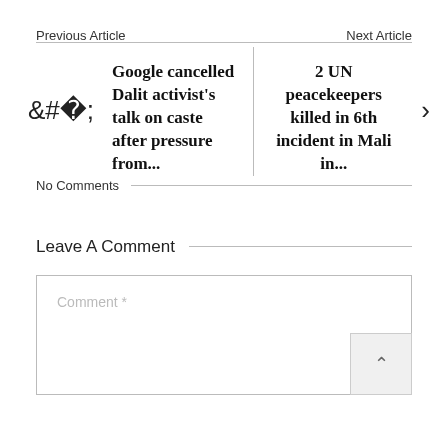Previous Article
Next Article
Google cancelled Dalit activist's talk on caste after pressure from...
2 UN peacekeepers killed in 6th incident in Mali in...
No Comments
Leave A Comment
Comment *